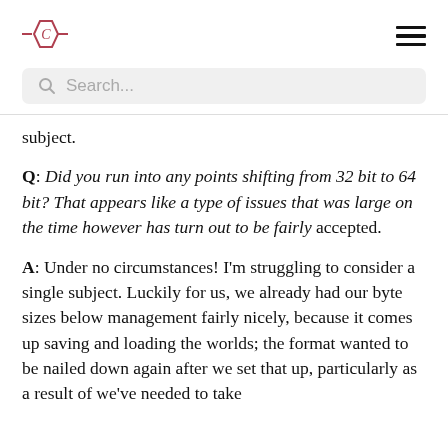[Logo] [Menu icon]
[Figure (logo): Stylized logo with a hexagon shape containing the letter C with horizontal lines extending left and right, in dark rose/maroon color]
Search...
subject.
Q: Did you run into any points shifting from 32 bit to 64 bit? That appears like a type of issues that was large on the time however has turn out to be fairly accepted.
A: Under no circumstances! I'm struggling to consider a single subject. Luckily for us, we already had our byte sizes below management fairly nicely, because it comes up saving and loading the worlds; the format wanted to be nailed down again after we set that up, particularly as a result of we've needed to take